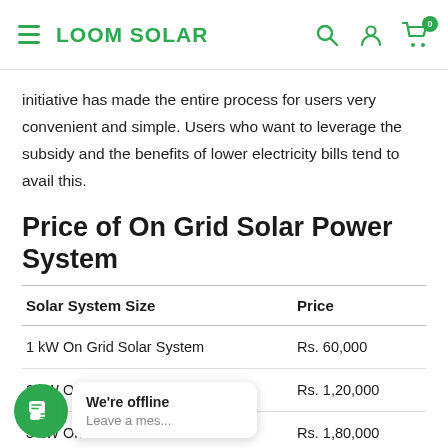LOOM SOLAR
initiative has made the entire process for users very convenient and simple. Users who want to leverage the subsidy and the benefits of lower electricity bills tend to avail this.
Price of On Grid Solar Power System
| Solar System Size | Price |
| --- | --- |
| 1 kW On Grid Solar System | Rs. 60,000 |
| 2 kW On Grid Solar System | Rs. 1,20,000 |
| 3 kW On Grid Solar System | Rs. 1,80,000 |
| 4 kW On Grid Solar System | Rs. 3,00,000 |